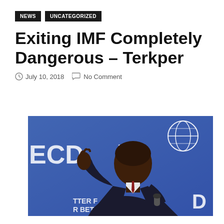NEWS   UNCATEGORIZED
Exiting IMF Completely Dangerous – Terkper
July 10, 2018   No Comment
[Figure (photo): A man in a dark suit holding a microphone at what appears to be an OECD event, with a blue background and OECD logos visible]